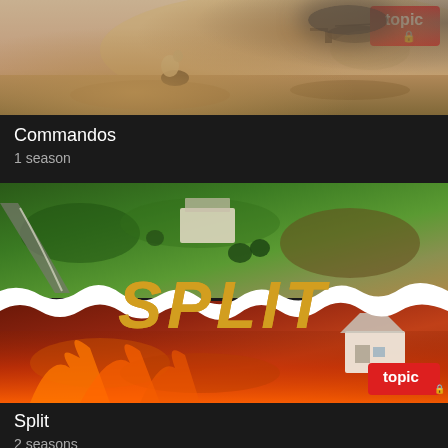[Figure (photo): Commandos TV show thumbnail: dusty desert scene with figure kneeling and helicopter in background, with Topic streaming logo badge in top right corner]
Commandos
1 season
[Figure (photo): Split TV show thumbnail: aerial view of green hillside landscape torn to reveal fiery red hillside below, with large golden italic text SPLIT overlaid, white house visible bottom right, Topic streaming logo badge in bottom right corner]
Split
2 seasons